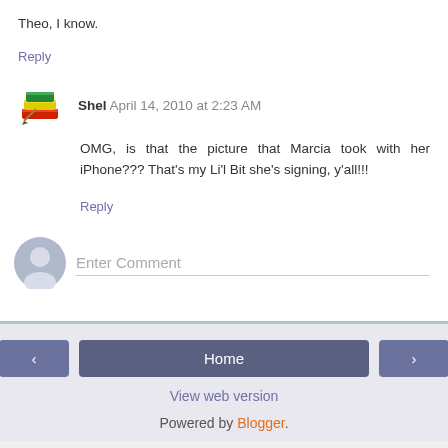Theo, I know.
Reply
Shel  April 14, 2010 at 2:23 AM
OMG, is that the picture that Marcia took with her iPhone??? That's my Li'l Bit she's signing, y'all!!!
Reply
Enter Comment
Home
View web version
Powered by Blogger.